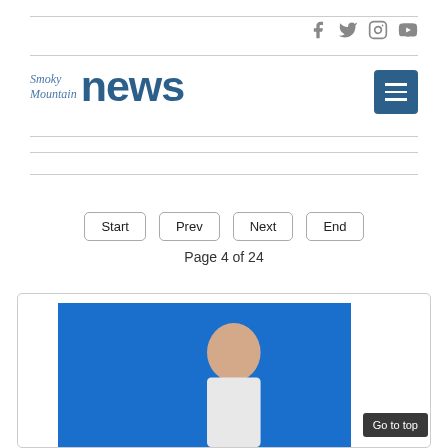[Figure (logo): Smoky Mountain news logo with social media icons (Facebook, Twitter, Instagram, YouTube) and a hamburger menu button]
Start   Prev   Next   End
Page 4 of 24
[Figure (photo): Blue background photo showing a person, partially visible, at the bottom of the page inside a card]